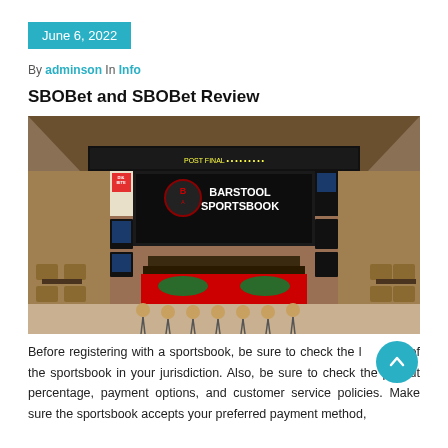June 6, 2022
By adminson In Info
SBOBet and SBOBet Review
[Figure (photo): Interior of Barstool Sportsbook showing a large LED display with 'Barstool Sportsbook' branding, bar seating with stools, betting terminals, and a lounge area.]
Before registering with a sportsbook, be sure to check the legality of the sportsbook in your jurisdiction. Also, be sure to check the payout percentage, payment options, and customer service policies. Make sure the sportsbook accepts your preferred payment method,